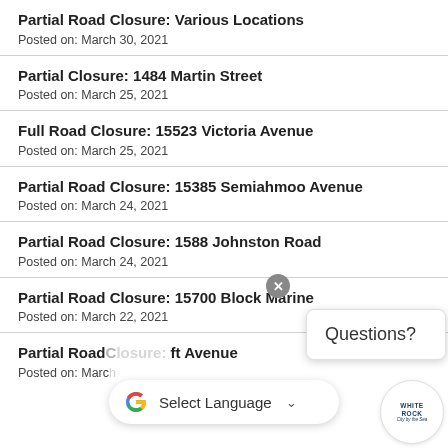Partial Road Closure: Various Locations
Posted on: March 30, 2021
Partial Closure: 1484 Martin Street
Posted on: March 25, 2021
Full Road Closure: 15523 Victoria Avenue
Posted on: March 25, 2021
Partial Road Closure: 15385 Semiahmoo Avenue
Posted on: March 24, 2021
Partial Road Closure: 1588 Johnston Road
Posted on: March 24, 2021
Partial Road Closure: 15700 Block Marine
Posted on: March 22, 2021
Partial Road Closure: [obscured] ft Avenue
Posted on: March [obscured]